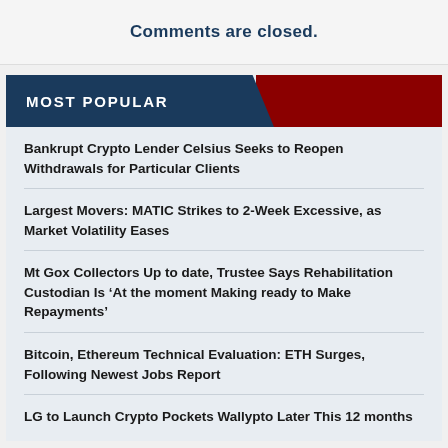Comments are closed.
MOST POPULAR
Bankrupt Crypto Lender Celsius Seeks to Reopen Withdrawals for Particular Clients
Largest Movers: MATIC Strikes to 2-Week Excessive, as Market Volatility Eases
Mt Gox Collectors Up to date, Trustee Says Rehabilitation Custodian Is ‘At the moment Making ready to Make Repayments’
Bitcoin, Ethereum Technical Evaluation: ETH Surges, Following Newest Jobs Report
LG to Launch Crypto Pockets Wallypto Later This 12 months